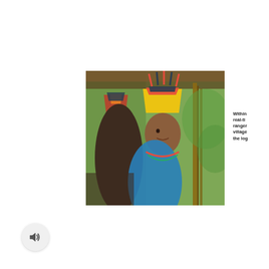[Figure (photo): Two Indigenous people, one wearing a traditional yellow and red feathered headdress, sitting under a thatched roof structure surrounded by green foliage.]
Within real-time ranger village the log